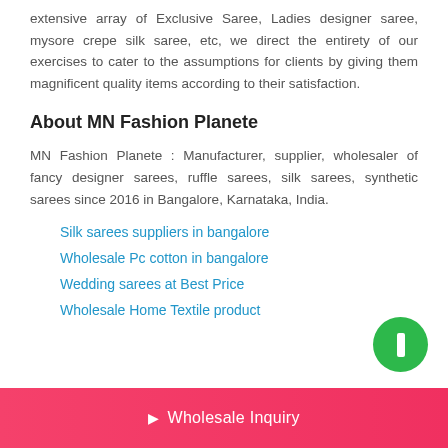extensive array of Exclusive Saree, Ladies designer saree, mysore crepe silk saree, etc, we direct the entirety of our exercises to cater to the assumptions for clients by giving them magnificent quality items according to their satisfaction.
About MN Fashion Planete
MN Fashion Planete : Manufacturer, supplier, wholesaler of fancy designer sarees, ruffle sarees, silk sarees, synthetic sarees since 2016 in Bangalore, Karnataka, India.
Silk sarees suppliers in bangalore
Wholesale Pc cotton in bangalore
Wedding sarees at Best Price
Wholesale Home Textile product
[Figure (other): Green circular FAB button with white rectangle icon]
Wholesale Inquiry